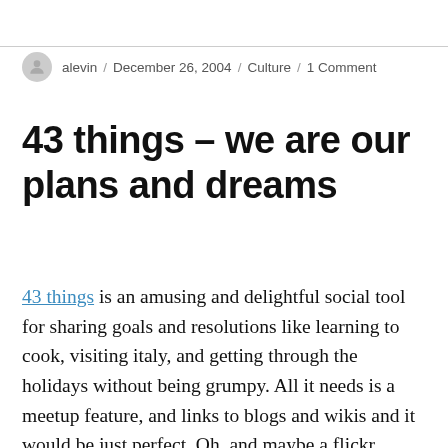alevin / December 26, 2004 / Culture / 1 Comment
43 things – we are our plans and dreams
43 things is an amusing and delightful social tool for sharing goals and resolutions like learning to cook, visiting italy, and getting through the holidays without being grumpy. All it needs is a meetup feature, and links to blogs and wikis and it would be just perfect. Oh, and maybe a flickr import. Why do I find this so much more cheerful than